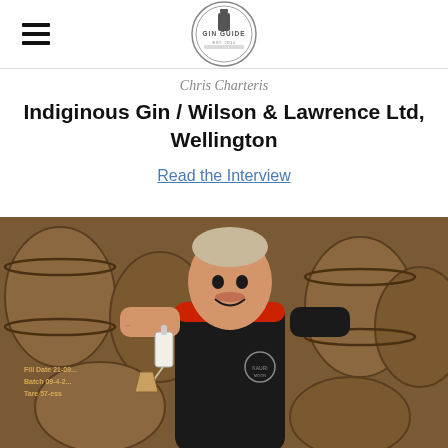Gin Guide
Chris Charteris
Indiginous Gin / Wilson & Lawrence Ltd, Wellington
Read the Interview
[Figure (photo): Man in black polo shirt smiling, pouring from a small bottle, surrounded by wooden barrels in a distillery. He has tattoos on his arms. Barrels visible in background with markings including 'Fill Date 21-09...', 'Batch 09-4-2...', 'Tare 57-ess'.]